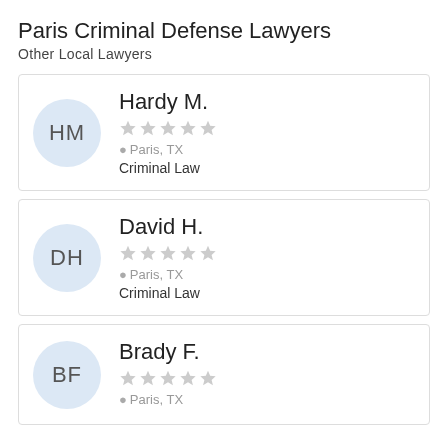Paris Criminal Defense Lawyers
Other Local Lawyers
HM | Hardy M. | ★★★★★ (no rating) | Paris, TX | Criminal Law
DH | David H. | ★★★★★ (no rating) | Paris, TX | Criminal Law
BF | Brady F. | ★★★★★ (no rating) | Paris, TX